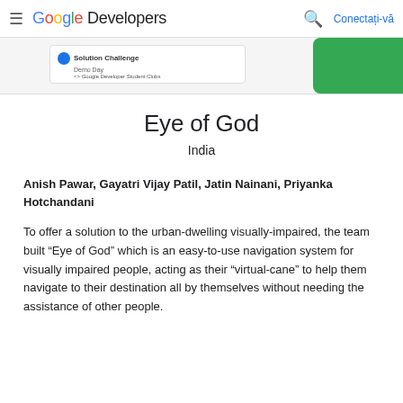Google Developers — Conectați-vă
[Figure (screenshot): Partial screenshot of a Solution Challenge Demo Day card by Google Developer Student Clubs, with a green shape visible on the right side]
Eye of God
India
Anish Pawar, Gayatri Vijay Patil, Jatin Nainani, Priyanka Hotchandani
To offer a solution to the urban-dwelling visually-impaired, the team built “Eye of God” which is an easy-to-use navigation system for visually impaired people, acting as their “virtual-cane” to help them navigate to their destination all by themselves without needing the assistance of other people.